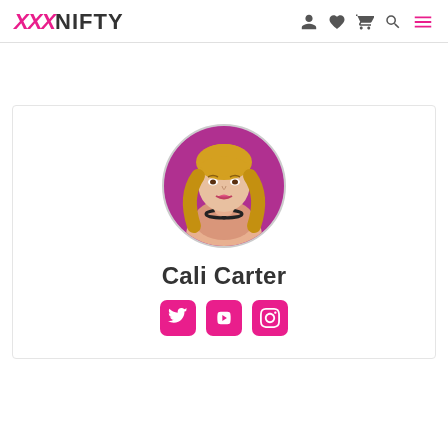XXXNIFTY
[Figure (photo): Profile photo of Cali Carter — woman with blonde hair against a pink/magenta background, shown in a circular crop]
Cali Carter
[Figure (infographic): Social media icons: Twitter, YouTube, Instagram — all in pink/magenta rounded square buttons]